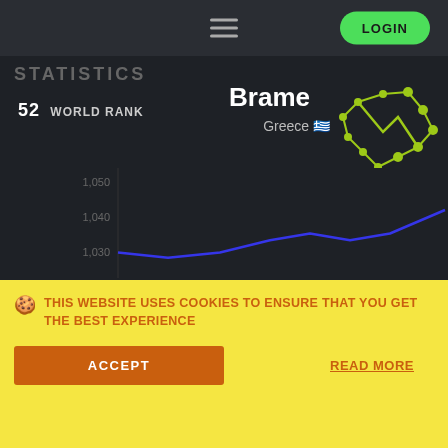LOGIN
STATISTICS
52  WORLD RANK
Brame
Greece 🇬🇷
[Figure (line-chart): Brame ranking over time]
THIS WEBSITE USES COOKIES TO ENSURE THAT YOU GET THE BEST EXPERIENCE
ACCEPT
READ MORE